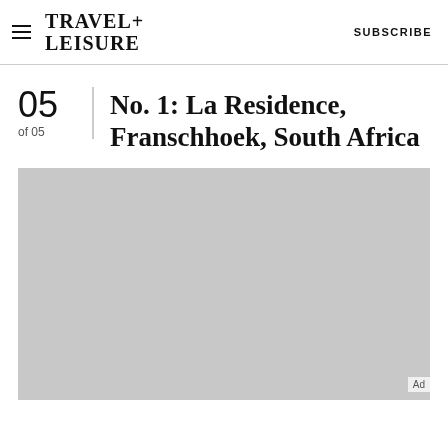TRAVEL+ LEISURE  SUBSCRIBE
No. 1: La Residence, Franschhoek, South Africa
05 of 05
[Figure (photo): Large placeholder image area for La Residence, Franschhoek, South Africa — shown as a gray rectangle with 'Ad' label in bottom right corner.]